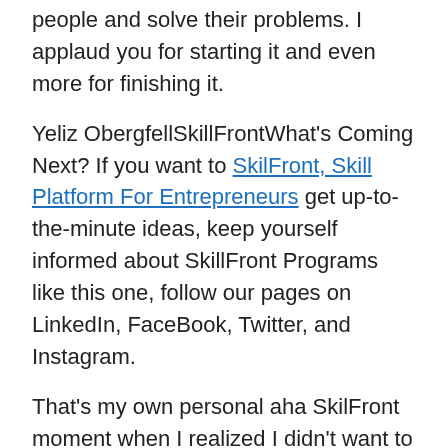people and solve their problems. I applaud you for starting it and even more for finishing it.
Yeliz ObergfellSkillFrontWhat's Coming Next? If you want to SkilFront, Skill Platform For Entrepreneurs get up-to-the-minute ideas, keep yourself informed about SkillFront Programs like this one, follow our pages on LinkedIn, FaceBook, Twitter, and Instagram.
That's my own personal aha SkilFront moment when I realized I didn't want to sell my knowledge and skills by the hour like my professor was doing. SummarySkill 1Businesses don't fail because they're out of money, but they're out of value in their